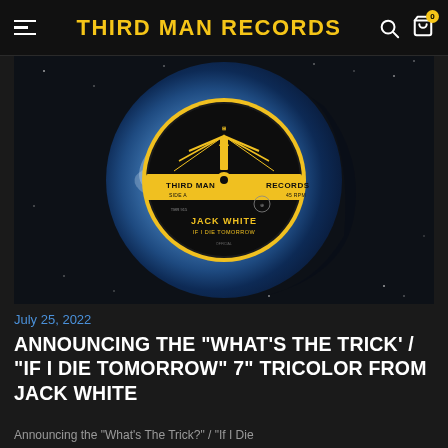THIRD MAN RECORDS
[Figure (photo): Blue and white marbled vinyl record with Third Man Records label. Label shows 'THIRD MAN RECORDS', 'SIDE A', '45 RPM', 'JACK WHITE', 'IF I DIE TOMORROW'. Vinyl set against dark starry night sky background.]
July 25, 2022
ANNOUNCING THE "WHAT'S THE TRICK' / "IF I DIE TOMORROW" 7" TRICOLOR FROM JACK WHITE
Announcing the "What's The Trick?" / "If I Die